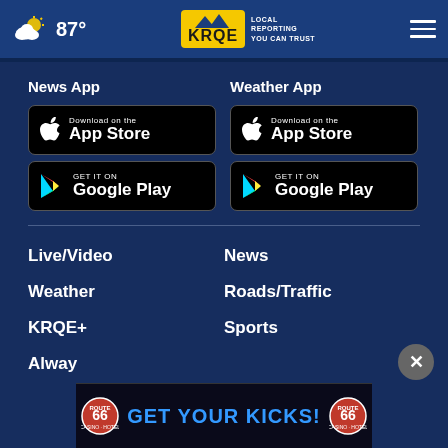87° | KRQE LOCAL REPORTING YOU CAN TRUST
News App
[Figure (logo): Download on the App Store button (black)]
[Figure (logo): GET IT ON Google Play button (black)]
Weather App
[Figure (logo): Download on the App Store button (black)]
[Figure (logo): GET IT ON Google Play button (black)]
Live/Video
News
Weather
Roads/Traffic
KRQE+
Sports
Alway
[Figure (infographic): Route 66 Casino Hotel - GET YOUR KICKS! advertisement banner at the bottom]